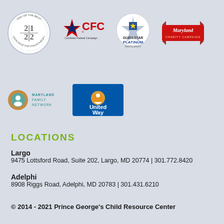[Figure (logo): Catalogue for Philanthropy '2|1/2|2 One of the Best' circular badge]
[Figure (logo): CFC Combined Federal Campaign logo with red star]
[Figure (logo): GuideStar Platinum Participant seal]
[Figure (logo): Maryland Charity Campaign logo]
[Figure (logo): Maryland Family Network logo]
[Figure (logo): United Way logo]
LOCATIONS
Largo
9475 Lottsford Road, Suite 202, Largo, MD 20774 | 301.772.8420
Adelphi
8908 Riggs Road, Adelphi, MD 20783 | 301.431.6210
© 2014 - 2021 Prince George's Child Resource Center